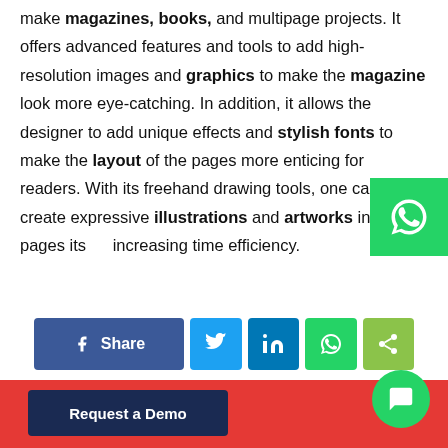make magazines, books, and multipage projects. It offers advanced features and tools to add high-resolution images and graphics to make the magazine look more eye-catching. In addition, it allows the designer to add unique effects and stylish fonts to make the layout of the pages more enticing for readers. With its freehand drawing tools, one can also create expressive illustrations and artworks in the pages itself, increasing time efficiency.
[Figure (other): Social sharing bar with Facebook Share, Twitter, LinkedIn, WhatsApp, and generic share buttons]
[Figure (other): Footer bar with Request a Demo button and chat bubble icon]